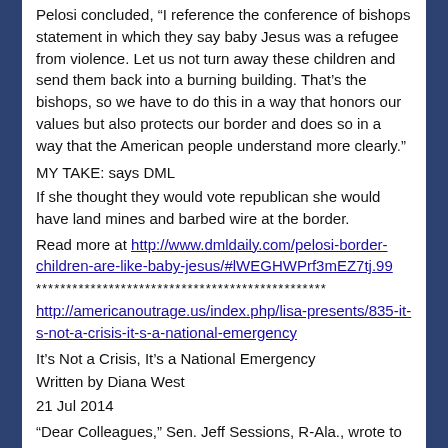Pelosi concluded, “I reference the conference of bishops statement in which they say baby Jesus was a refugee from violence. Let us not turn away these children and send them back into a burning building. That’s the bishops, so we have to do this in a way that honors our values but also protects our border and does so in a way that the American people understand more clearly.”
MY TAKE: says DML
If she thought they would vote republican she would have land mines and barbed wire at the border.
Read more at http://www.dmldaily.com/pelosi-border-children-are-like-baby-jesus/#lWEGHWPrf3mEZ7tj.99
************************************************
http://americanoutrage.us/index.php/lisa-presents/835-it-s-not-a-crisis-it-s-a-national-emergency
It’s Not a Crisis, It’s a National Emergency
Written by Diana West
21 Jul 2014
“Dear Colleagues,” Sen. Jeff Sessions, R-Ala., wrote to his fellow senators, “I write to inform you of a development that threatens the foundation of our constitutional